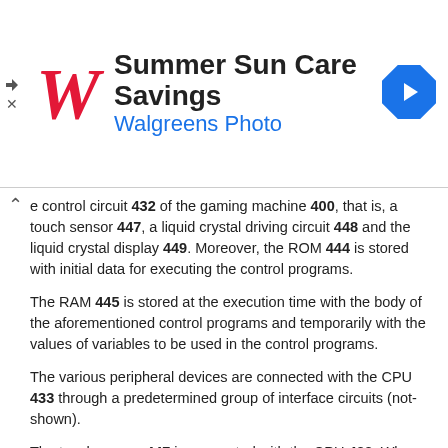[Figure (other): Walgreens Photo advertisement banner with red W logo, text 'Summer Sun Care Savings' and 'Walgreens Photo', navigation arrow icon on right, and ad close controls on left]
e control circuit 432 of the gaming machine 400, that is, a touch sensor 447, a liquid crystal driving circuit 448 and the liquid crystal display 449. Moreover, the ROM 444 is stored with initial data for executing the control programs.
The RAM 445 is stored at the execution time with the body of the aforementioned control programs and temporarily with the values of variables to be used in the control programs.
The various peripheral devices are connected with the CPU 433 through a predetermined group of interface circuits (not-shown).
The touch sensor 447 is connected with the CPU 433. When the operation display displayed in the later-described liquid crystal display is operated by the player, the touch sensor 447 detects the operation and feeds the detection signal to the CPU 433.
Here in this embodiment, the touch sensor 447 constitutes a portion of the “game operation means for operating the game control means of the second game”. However, the invention should not be limited, but the “game